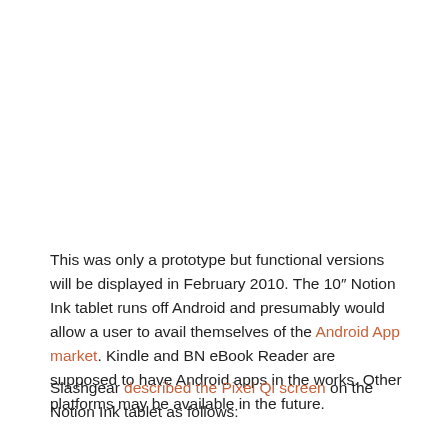This was only a prototype but functional versions will be displayed in February 2010. The 10″ Notion Ink tablet runs off Android and presumably would allow a user to avail themselves of the Android App market. Kindle and BN eBook Reader are supposed to have Android apps in the works. Other platforms may be available in the future.
Slashgear described the Pixel Qi screen on the Notion Ink tablet as follows: